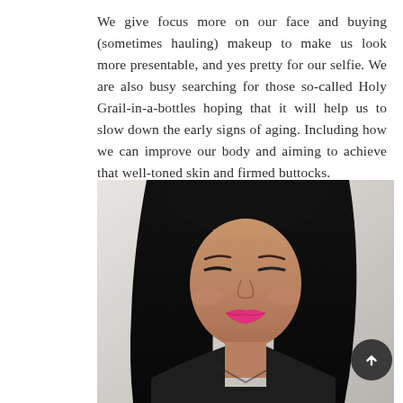We give focus more on our face and buying (sometimes hauling) makeup to make us look more presentable, and yes pretty for our selfie. We are also busy searching for those so-called Holy Grail-in-a-bottles hoping that it will help us to slow down the early signs of aging. Including how we can improve our body and aiming to achieve that well-toned skin and firmed buttocks.
[Figure (photo): A young woman with long straight black hair, looking downward, wearing a dark top, with pink lipstick, photographed against a light gray background.]